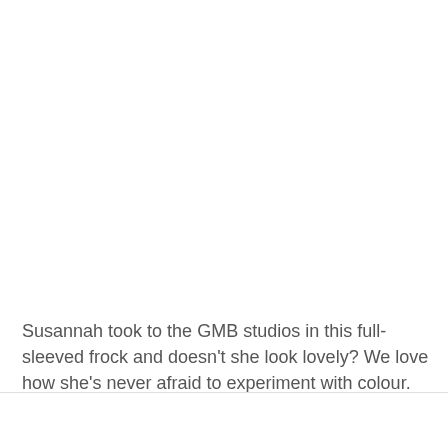Susannah took to the GMB studios in this full-sleeved frock and doesn't she look lovely? We love how she's never afraid to experiment with colour.